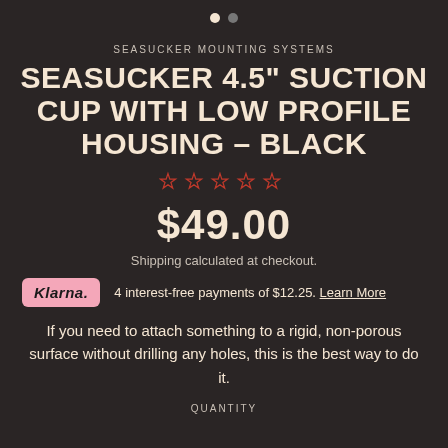[Figure (other): Two pagination dots, first dot active (white), second dot inactive (gray)]
SEASUCKER MOUNTING SYSTEMS
SEASUCKER 4.5" SUCTION CUP WITH LOW PROFILE HOUSING – BLACK
[Figure (other): 5 empty/outline star rating icons in red]
$49.00
Shipping calculated at checkout.
4 interest-free payments of $12.25. Learn More
If you need to attach something to a rigid, non-porous surface without drilling any holes, this is the best way to do it.
QUANTITY